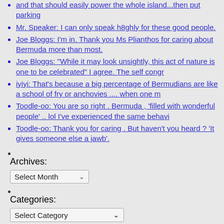and that should easily power the whole island...then put parking
Mr. Speaker: I can only speak h8ghly for these good people.
Joe Bloggs: I'm in. Thank you Ms Plianthos for caring about Bermuda more than most.
Joe Bloggs: "While it may look unsightly, this act of nature is one to be celebrated" I agree. The self congr
iyiyi: That's because a big percentage of Bermudians are like a school of fry or anchovies .... when one m
Toodle-oo: You are so right . Bermuda , 'filled with wonderful people' .. lol I've experienced the same behavi
Toodle-oo: Thank you for caring . But haven't you heard ? 'It gives someone else a jawb'.
Archives:
[Figure (other): Select Month dropdown widget]
Categories:
[Figure (other): Select Category dropdown widget]